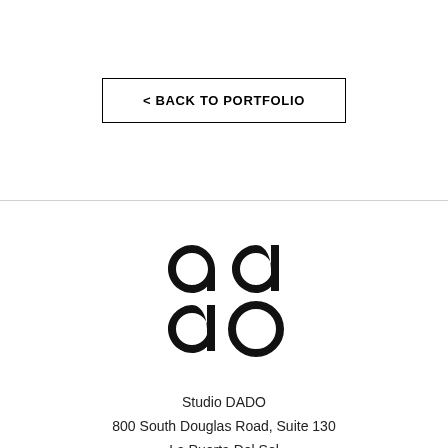< BACK TO PORTFOLIO
[Figure (logo): Studio DADO logo: four circular letterforms 'da do' arranged in a 2x2 grid, bold black on white]
Studio DADO
800 South Douglas Road, Suite 130
La Puerta Del Sol